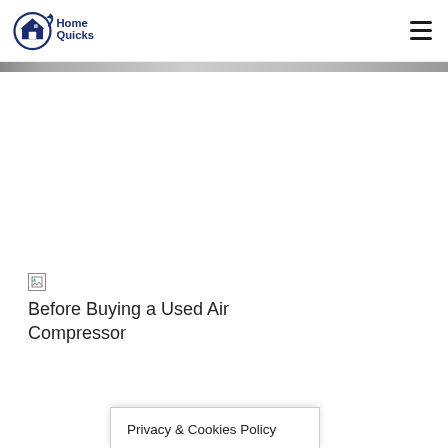HomeQuicks
[Figure (photo): Broken image placeholder for 'Before Buying a Used Air Compressor' article image]
Before Buying a Used Air Compressor
Privacy & Cookies Policy